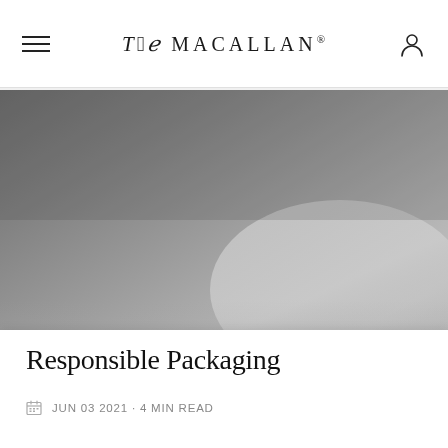The Macallan®
[Figure (photo): Large hero image showing a blurred grey/dark background, likely a whisky product or environment shot in muted tones.]
Responsible Packaging
JUN 03 2021 · 4 MIN READ